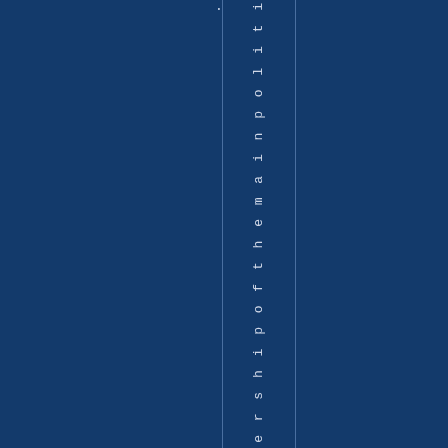[Figure (other): Dark navy blue background page with vertical dividing lines and rotated vertical text reading '- s and membership of the main politi' in light colored monospace font, suggesting a book spine or rotated page element from a government or political document.]